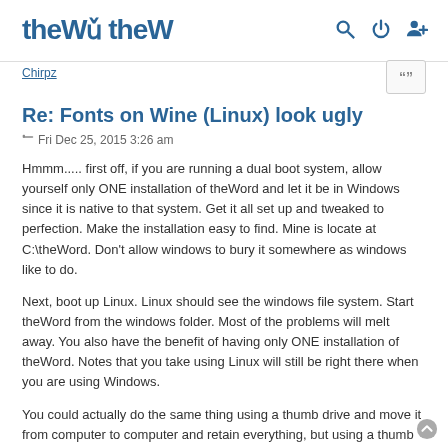theW [logo with search, power, and user icons]
Chirpz
Re: Fonts on Wine (Linux) look ugly
Fri Dec 25, 2015 3:26 am
Hmmm..... first off, if you are running a dual boot system, allow yourself only ONE installation of theWord and let it be in Windows since it is native to that system. Get it all set up and tweaked to perfection. Make the installation easy to find. Mine is locate at C:\theWord. Don't allow windows to bury it somewhere as windows like to do.
Next, boot up Linux. Linux should see the windows file system. Start theWord from the windows folder. Most of the problems will melt away. You also have the benefit of having only ONE installation of theWord. Notes that you take using Linux will still be right there when you are using Windows.
You could actually do the same thing using a thumb drive and move it from computer to computer and retain everything, but using a thumb drive slows things down a bit.